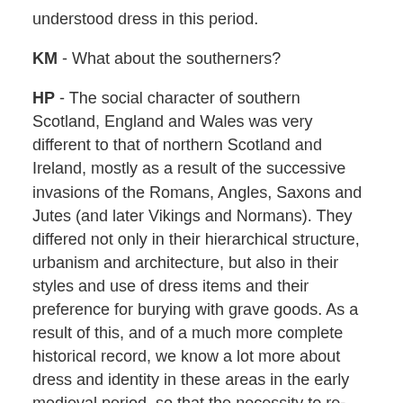understood dress in this period.
KM - What about the southerners?
HP - The social character of southern Scotland, England and Wales was very different to that of northern Scotland and Ireland, mostly as a result of the successive invasions of the Romans, Angles, Saxons and Jutes (and later Vikings and Normans). They differed not only in their hierarchical structure, urbanism and architecture, but also in their styles and use of dress items and their preference for burying with grave goods. As a result of this, and of a much more complete historical record, we know a lot more about dress and identity in these areas in the early medieval period, so that the necessity to re-evaluate the material evidence is not as strong.